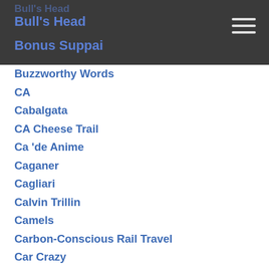Bull's Head
Bonus Suppai
Buzzworthy Words
CA
Cabalgata
CA Cheese Trail
Ca 'de Anime
Caganer
Cagliari
Calvin Trillin
Camels
Carbon-Conscious Rail Travel
Car Crazy
Cars Vs. Trains
Castle Houska
České Budějovice
České Budějovice
Chained Wallet
Chakra Stone